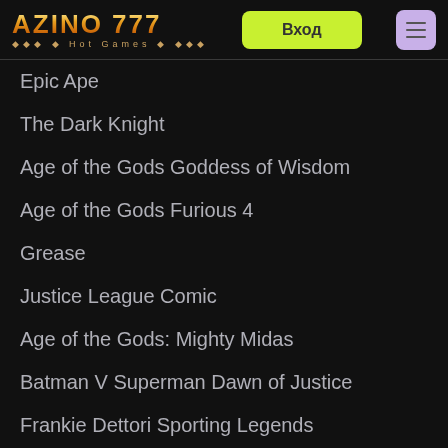[Figure (logo): Azino777 Hot Games logo with orange/gold gradient text and decorative dots]
Вход
Epic Ape
The Dark Knight
Age of the Gods Goddess of Wisdom
Age of the Gods Furious 4
Grease
Justice League Comic
Age of the Gods: Mighty Midas
Batman V Superman Dawn of Justice
Frankie Dettori Sporting Legends